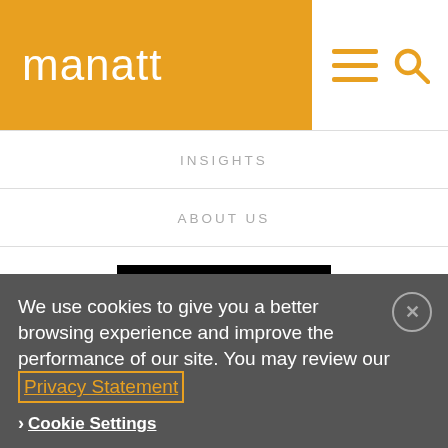manatt
INSIGHTS
ABOUT US
[Figure (logo): Manatt logo in white text on black background]
ATTORNEY ADVERTISING
pursuant to New York DR 2-101(f)
© 2023 Manatt, Phelps & Phillips, LLP
We use cookies to give you a better browsing experience and improve the performance of our site. You may review our Privacy Statement
Cookie Settings